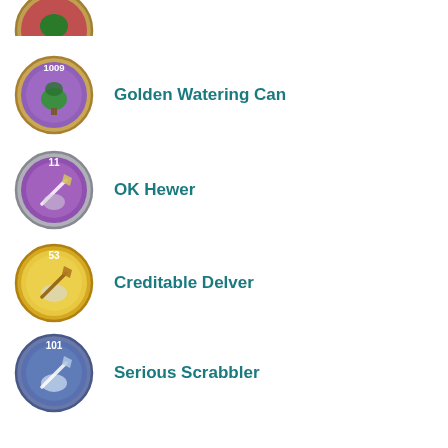[Figure (illustration): Partially visible badge at top of page, cut off]
Golden Watering Can
OK Hewer
Creditable Delver
Serious Scrabbler
Master Blaster
Shiny Nugget Award
Clumsy